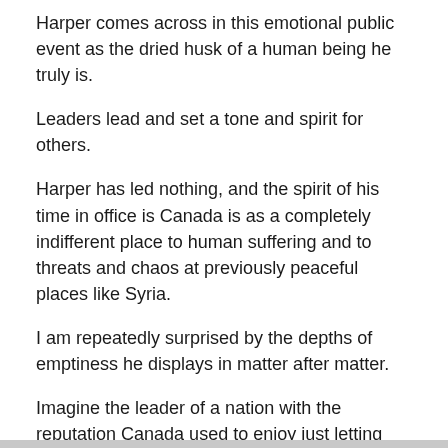Harper comes across in this emotional public event as the dried husk of a human being he truly is.
Leaders lead and set a tone and spirit for others.
Harper has led nothing, and the spirit of his time in office is Canada is as a completely indifferent place to human suffering and to threats and chaos at previously peaceful places like Syria.
I am repeatedly surprised by the depths of emptiness he displays in matter after matter.
Imagine the leader of a nation with the reputation Canada used to enjoy just letting people rot while he actually joins in the killing in Syria, albeit on a limited scale owing mainly to our not having enough fighter jets.